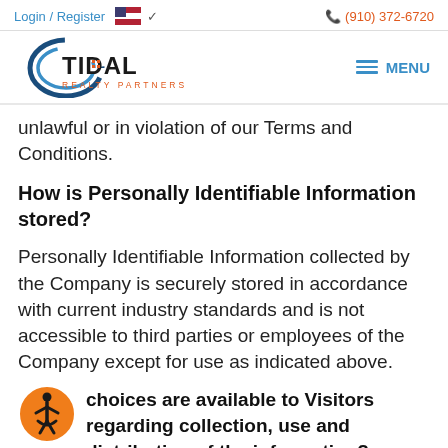Login / Register   🇺🇸 ▾   (910) 372-6720
[Figure (logo): Tidal Realty Partners logo with blue arc and orange dot grid]
unlawful or in violation of our Terms and Conditions.
How is Personally Identifiable Information stored?
Personally Identifiable Information collected by the Company is securely stored in accordance with current industry standards and is not accessible to third parties or employees of the Company except for use as indicated above.
What choices are available to Visitors regarding collection, use and distribution of the information?